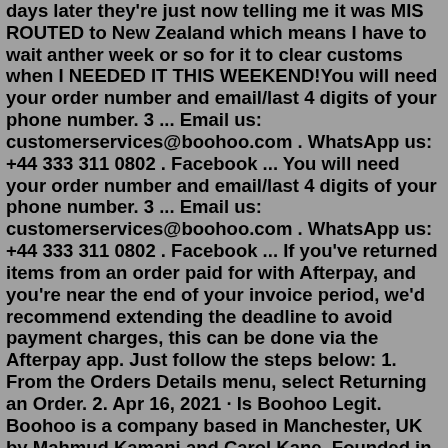days later they're just now telling me it was MIS ROUTED to New Zealand which means I have to wait anther week or so for it to clear customs when I NEEDED IT THIS WEEKEND!You will need your order number and email/last 4 digits of your phone number. 3 ... Email us: customerservices@boohoo.com . WhatsApp us: +44 333 311 0802 . Facebook ... You will need your order number and email/last 4 digits of your phone number. 3 ... Email us: customerservices@boohoo.com . WhatsApp us: +44 333 311 0802 . Facebook ... If you've returned items from an order paid for with Afterpay, and you're near the end of your invoice period, we'd recommend extending the deadline to avoid payment charges, this can be done via the Afterpay app. Just follow the steps below: 1. From the Orders Details menu, select Returning an Order. 2. Apr 16, 2021 · Is Boohoo Legit. Boohoo is a company based in Manchester, UK by Mahmud Kamani and Carol Kane. Founded in 2006, Boohoo has become a public company with . The company has also bought